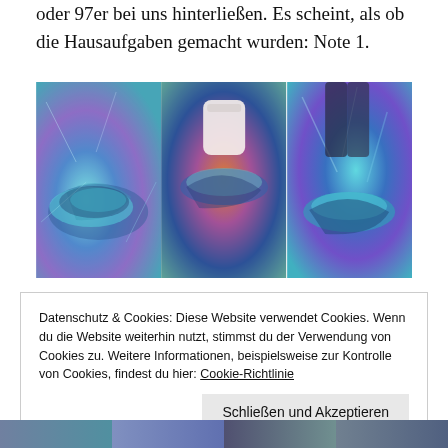Vergleich zu den Eindrücken, die manche Nike Air Max 1 oder 97er bei uns hinterließen. Es scheint, als ob die Hausaufgaben gemacht wurden: Note 1.
[Figure (photo): Three side-by-side photos of Nike sneakers (Air Max) in colorful, iridescent/holographic settings. Left: shoe on shiny crumpled metallic teal/purple surface. Center: shoe worn with white sock in colorful swirling background. Right: shoe on shiny teal/blue metallic surface.]
Datenschutz & Cookies: Diese Website verwendet Cookies. Wenn du die Website weiterhin nutzt, stimmst du der Verwendung von Cookies zu. Weitere Informationen, beispielsweise zur Kontrolle von Cookies, findest du hier: Cookie-Richtlinie
Schließen und Akzeptieren
[Figure (photo): Partial bottom strip showing four thumbnail images of sneakers in colorful settings.]